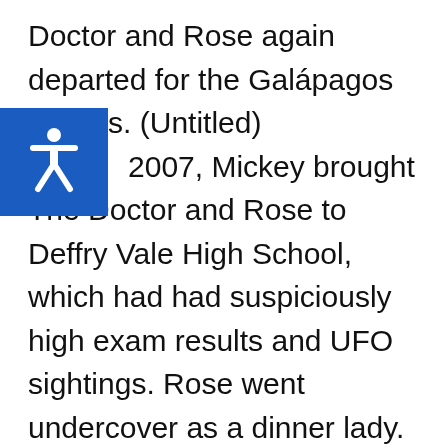Doctor and Rose again departed for the Galápagos Islands. (Untitled) 2007, Mickey brought The Doctor and Rose to Deffry Vale High School, which had had suspiciously high exam results and UFO sightings. Rose went undercover as a dinner lady. She had been eating the school's chips that were coated in an intelligence-increasing oil.
This website uses cookies to improve your experience. I will assume you're ok with this, but you can opt-out if you wish.
Cookie settings   ACCEPT